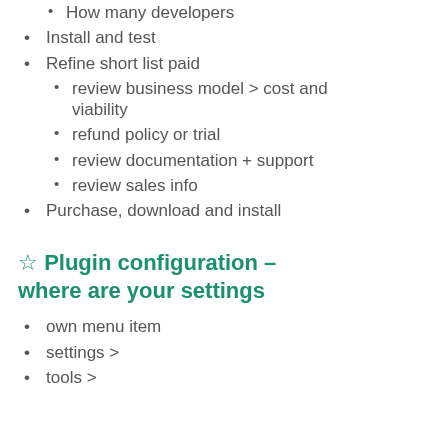How many developers
Install and test
Refine short list paid
review business model > cost and viability
refund policy or trial
review documentation + support
review sales info
Purchase, download and install
☆ Plugin configuration – where are your settings
own menu item
settings >
tools >